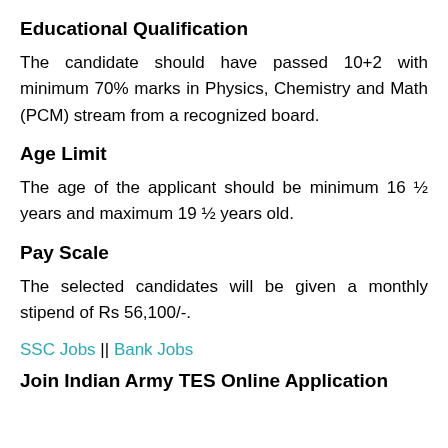Educational Qualification
The candidate should have passed 10+2 with minimum 70% marks in Physics, Chemistry and Math (PCM) stream from a recognized board.
Age Limit
The age of the applicant should be minimum 16 ½ years and maximum 19 ½ years old.
Pay Scale
The selected candidates will be given a monthly stipend of Rs 56,100/-.
SSC Jobs || Bank Jobs
Join Indian Army TES Online Application